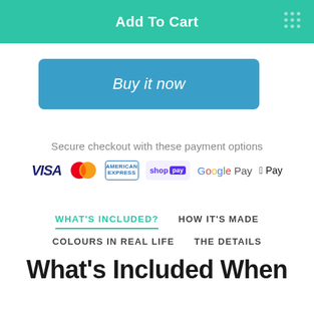[Figure (screenshot): Green 'Add To Cart' button with dots icon on the right]
[Figure (screenshot): Blue 'Buy it now' button]
Secure checkout with these payment options
[Figure (logo): Payment method logos: VISA, Mastercard, American Express, Shop Pay, Google Pay, Apple Pay]
WHAT'S INCLUDED?
HOW IT'S MADE
COLOURS IN REAL LIFE
THE DETAILS
What's Included When